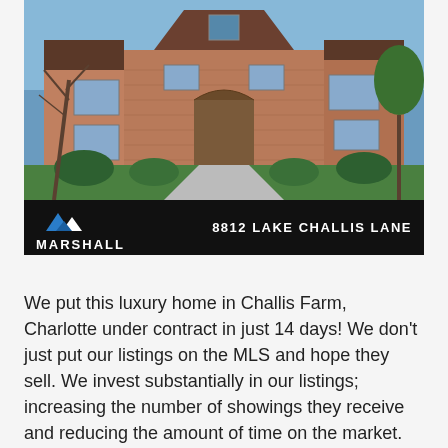[Figure (photo): Exterior photo of a large brick luxury home with multiple windows and arched entryway, surrounded by landscaping and trees, at 8812 Lake Challis Lane, with a Marshall Realty black banner overlay at the bottom of the image.]
We put this luxury home in Challis Farm, Charlotte under contract in just 14 days! We don't just put our listings on the MLS and hope they sell. We invest substantially in our listings; increasing the number of showings they receive and reducing the amount of time on the market. Visit the custom website we created for this home to see some of the marketing tools we use. Do you have a home to sell? Call Aaron at 704-305-9148 to find out what makes us different and how we can get you top dollar...